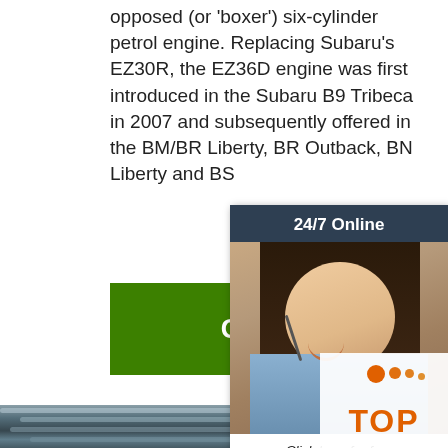opposed (or 'boxer') six-cylinder petrol engine. Replacing Subaru's EZ30R, the EZ36D engine was first introduced in the Subaru B9 Tribeca in 2007 and subsequently offered in the BM/BR Liberty, BR Outback, BN Liberty and BS...
[Figure (other): Green 'Get Price' button]
[Figure (other): Chat widget with '24/7 Online' header, photo of woman with headset, 'Click here for free chat!' text, and orange QUOTATION button]
[Figure (photo): Photo of steel pipes/rods stacked outdoors on a construction site, with dirt ground visible]
[Figure (logo): Orange 'TOP' badge/logo with orange dots in upper right corner]